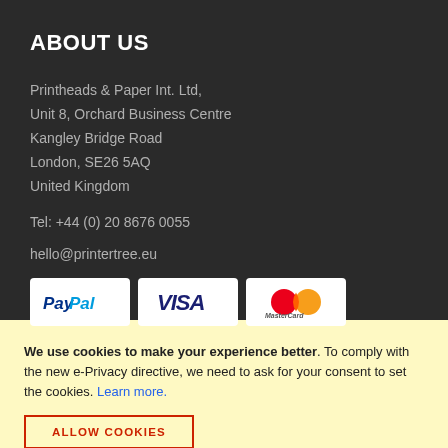ABOUT US
Printheads & Paper Int. Ltd,
Unit 8, Orchard Business Centre
Kangley Bridge Road
London, SE26 5AQ
United Kingdom
Tel: +44 (0) 20 8676 0055
hello@printertree.eu
[Figure (logo): PayPal, Visa, and Mastercard payment method badges]
We use cookies to make your experience better. To comply with the new e-Privacy directive, we need to ask for your consent to set the cookies. Learn more.
ALLOW COOKIES